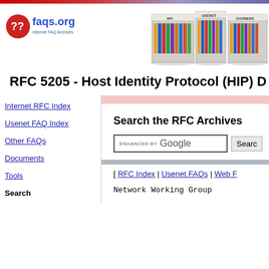[Figure (logo): faqs.org logo with red circle question mark icon and blue text 'faqs.org Internet FAQ Archives']
[Figure (illustration): Bookshelf illustration showing shelves labeled RFI, USENET, GOVNERS with colorful books]
RFC 5205 - Host Identity Protocol (HIP) D
Search the RFC Archives
[Figure (screenshot): Google search box with ENHANCED BY Google text and Search button]
[ RFC Index | Usenet FAQs | Web F
Internet RFC Index
Usenet FAQ Index
Other FAQs
Documents
Tools
Search
Network Working Group